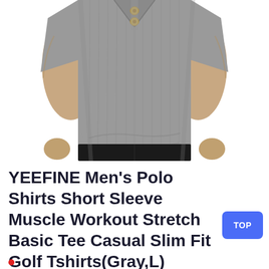[Figure (photo): A muscular man's torso wearing a gray ribbed slim-fit Henley polo shirt with short sleeves and two gold buttons at the collar. The bottom of the shirt is cropped and the man is wearing black pants. The background is white.]
YEEFINE Men's Polo Shirts Short Sleeve Muscle Workout Stretch Basic Tee Casual Slim Fit Golf Tshirts(Gray,L)